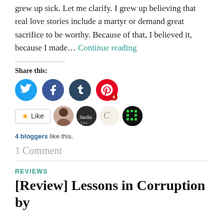grew up sick.  Let me clarify. I grew up believing that real love stories include a martyr or demand great sacrifice to be worthy.  Because of that, I believed it, because I made… Continue reading
Share this:
[Figure (infographic): Social sharing icons: Twitter (blue circle), Facebook (blue circle), Tumblr (dark blue circle), Pinterest (red circle with badge '6')]
[Figure (infographic): Like button with star icon, followed by 4 blogger avatar thumbnails]
4 bloggers like this.
1 Comment
REVIEWS
[Review] Lessons in Corruption by